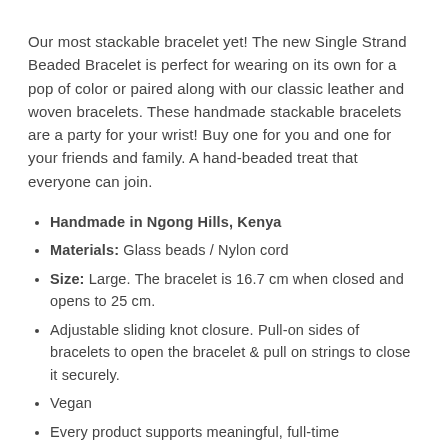Our most stackable bracelet yet! The new Single Strand Beaded Bracelet is perfect for wearing on its own for a pop of color or paired along with our classic leather and woven bracelets. These handmade stackable bracelets are a party for your wrist! Buy one for you and one for your friends and family. A hand-beaded treat that everyone can join.
Handmade in Ngong Hills, Kenya
Materials: Glass beads / Nylon cord
Size: Large. The bracelet is 16.7 cm when closed and opens to 25 cm.
Adjustable sliding knot closure. Pull-on sides of bracelets to open the bracelet & pull on strings to close it securely.
Vegan
Every product supports meaningful, full-time employment in Kenya!
Share  Tweet  Pin it